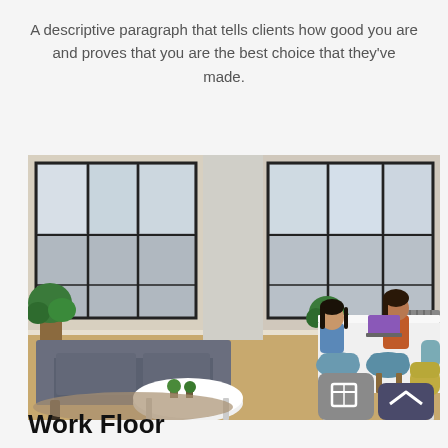A descriptive paragraph that tells clients how good you are and proves that you are the best choice that they've made.
[Figure (photo): Office interior with two women sitting at a white table with blue chairs, a gray sofa in the foreground, large industrial windows in the background, and plants around the room. UI overlay buttons visible in the bottom-right corner.]
Work Floor